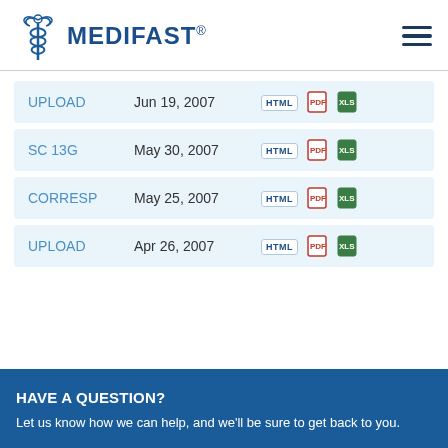MEDIFAST
| Type | Date | Formats |
| --- | --- | --- |
| UPLOAD | Jun 19, 2007 | HTML PDF XLS |
| SC 13G | May 30, 2007 | HTML PDF XLS |
| CORRESP | May 25, 2007 | HTML PDF XLS |
| UPLOAD | Apr 26, 2007 | HTML PDF XLS |
HAVE A QUESTION?
Let us know how we can help, and we'll be sure to get back to you.